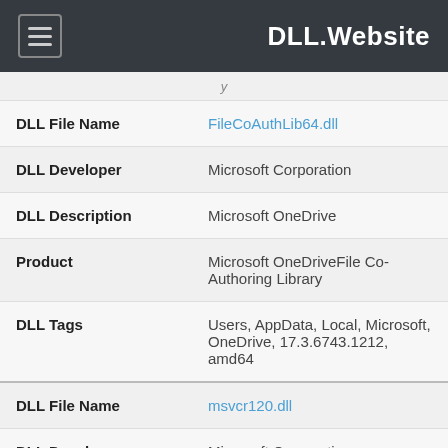DLL.Website
| Field | Value |
| --- | --- |
| DLL File Name | FileCoAuthLib64.dll |
| DLL Developer | Microsoft Corporation |
| DLL Description | Microsoft OneDrive |
| Product | Microsoft OneDriveFile Co-Authoring Library |
| DLL Tags | Users, AppData, Local, Microsoft, OneDrive, 17.3.6743.1212, amd64 |
| DLL File Name | msvcr120.dll |
| DLL Developer | Microsoft Corporation |